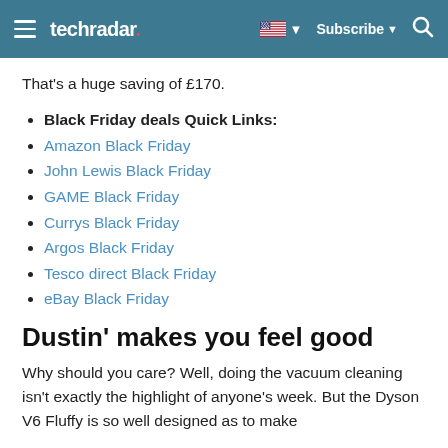techradar | Subscribe | Search
That's a huge saving of £170.
Black Friday deals Quick Links:
Amazon Black Friday
John Lewis Black Friday
GAME Black Friday
Currys Black Friday
Argos Black Friday
Tesco direct Black Friday
eBay Black Friday
Dustin' makes you feel good
Why should you care? Well, doing the vacuum cleaning isn't exactly the highlight of anyone's week. But the Dyson V6 Fluffy is so well designed as to make